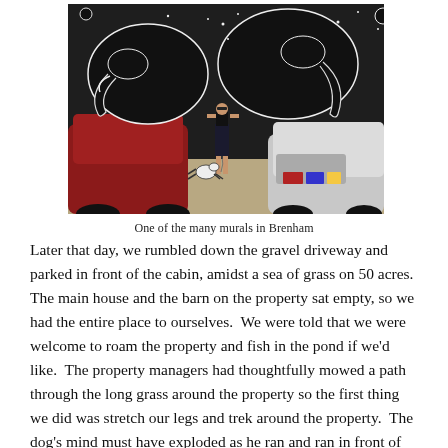[Figure (photo): A woman standing with a dog in front of a large black and white mural featuring elephants and space motifs. Two cars (a red one on the left and a silver/white one on the right) are parked in the foreground. The mural is on a white wall.]
One of the many murals in Brenham
Later that day, we rumbled down the gravel driveway and parked in front of the cabin, amidst a sea of grass on 50 acres.  The main house and the barn on the property sat empty, so we had the entire place to ourselves.  We were told that we were welcome to roam the property and fish in the pond if we'd like.  The property managers had thoughtfully mowed a path through the long grass around the property so the first thing we did was stretch our legs and trek around the property.  The dog's mind must have exploded as he ran and ran in front of us, continuously checking back over his shoulder to